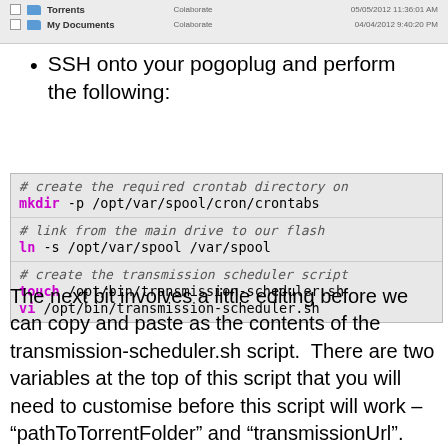[Figure (screenshot): File manager screenshot showing two rows: 'Torrents' folder (Colaborate, 05/05/2012 11:36:01 AM) and 'My Documents' folder (Colaborate, 04/04/2012 9:40:20 PM)]
SSH onto your pogoplug and perform the following:
[Figure (screenshot): Code block with three sections: 1) comment '# create the required crontab directory on' and command 'mkdir -p /opt/var/spool/cron/crontabs'; 2) comment '# link from the main drive to our flash' and command 'ln -s /opt/var/spool /var/spool'; 3) comment '# create the transmission scheduler script' and commands 'touch /opt/bin/transmission-scheduler.sh' and 'vi /opt/bin/transmission-scheduler.sh']
The next bit involves a little editing before we can copy and paste as the contents of the transmission-scheduler.sh script.  There are two variables at the top of this script that you will need to customise before this script will work – "pathToTorrentFolder" and "transmissionUrl".